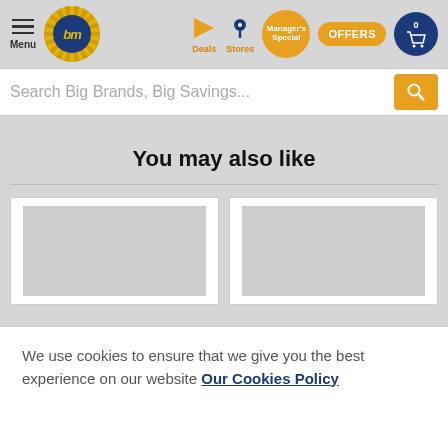[Figure (screenshot): B&M store website navigation bar with menu, logo, deals, stores, manager's special, offers, and cart icons]
[Figure (screenshot): Search bar with placeholder text 'Search Big Brands, Big Savings...' and orange search button]
You may also like
[Figure (screenshot): Two product card placeholders with grey image areas]
We use cookies to ensure that we give you the best experience on our website Our Cookies Policy